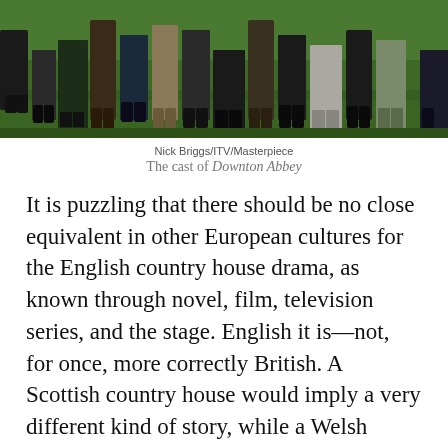[Figure (photo): Bottom portion of a group photo showing people standing on grass, visible from approximately the knees/waist down, including various shoes and clothing typical of period drama costume. From the Downton Abbey cast photo.]
Nick Briggs/ITV/Masterpiece
The cast of Downton Abbey
It is puzzling that there should be no close equivalent in other European cultures for the English country house drama, as known through novel, film, television series, and the stage. English it is—not, for once, more correctly British. A Scottish country house would imply a very different kind of story, while a Welsh country house (on any great scale) is a rarity. The French and the Germans have their country houses in plenty, but they are too discreet to prompt such universal fiction. Steam